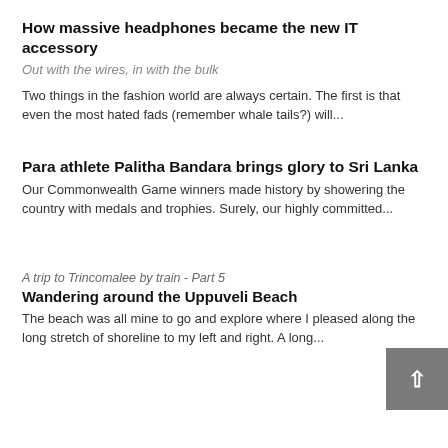How massive headphones became the new IT accessory
Out with the wires, in with the bulk
Two things in the fashion world are always certain. The first is that even the most hated fads (remember whale tails?) will...
Para athlete Palitha Bandara brings glory to Sri Lanka
Our Commonwealth Game winners made history by showering the country with medals and trophies. Surely, our highly committed...
A trip to Trincomalee by train - Part 5
Wandering around the Uppuveli Beach
The beach was all mine to go and explore where I pleased along the long stretch of shoreline to my left and right. A long...